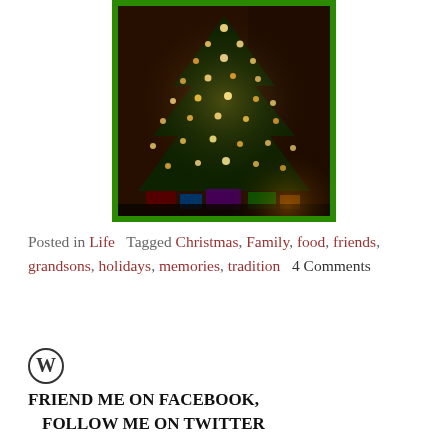[Figure (photo): A Christmas tree with lights and ornaments, presents underneath, dark warm-toned photograph with a green border frame]
Posted in Life   Tagged Christmas, Family, food, friends, grandsons, holidays, memories, tradition   4 Comments
[Figure (logo): WordPress logo (circle W icon)]
FRIEND ME ON FACEBOOK,
  FOLLOW ME ON TWITTER